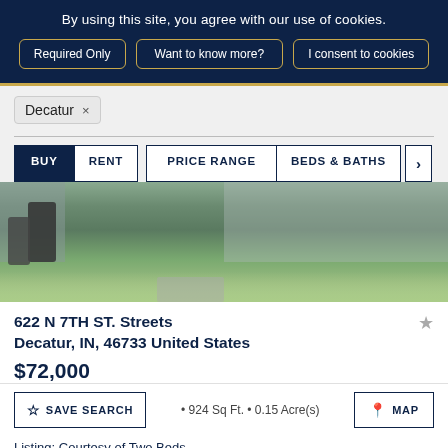By using this site, you agree with our use of cookies.
Required Only | Want to know more? | I consent to cookies
Decatur ×
BUY  RENT  PRICE RANGE  BEDS & BATHS  >
[Figure (photo): Exterior photo of a residential property at 622 N 7th St, Decatur, showing a house front yard with green grass, trash bins, and outdoor items.]
622 N 7TH ST. Streets
Decatur, IN, 46733 United States
$72,000
SAVE SEARCH  •  924 Sq Ft.  •  0.15 Acre(s)  MAP
Listing: Courtesy of Two Beds…